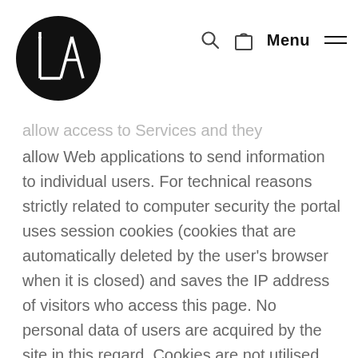L'A logo, search icon, bag icon, Menu
allow access to Services and they allow Web applications to send information to individual users. For technical reasons strictly related to computer security the portal uses session cookies (cookies that are automatically deleted by the user's browser when it is closed) and saves the IP address of visitors who access this page. No personal data of users are acquired by the site in this regard. Cookies are not utilised for the transmission of personal information.